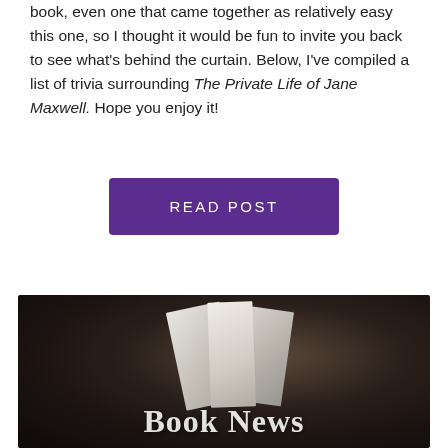book, even one that came together as relatively easy this one, so I thought it would be fun to invite you back to see what's behind the curtain. Below, I've compiled a list of trivia surrounding The Private Life of Jane Maxwell. Hope you enjoy it!
[Figure (other): Purple rectangular button with white uppercase text reading 'READ POST']
[Figure (photo): Dark moody photograph of open book pages fanned out against a dark background, with 'Book News' text overlaid in large white serif font at the bottom]